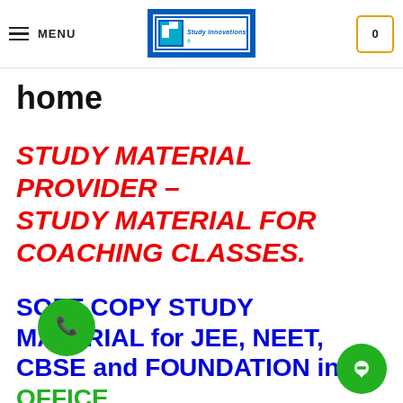MENU | Study Innovations logo | Cart: 0
home
STUDY MATERIAL PROVIDER – STUDY MATERIAL FOR COACHING CLASSES.
SOFT COPY STUDY MATERIAL for JEE, NEET, CBSE and FOUNDATION in OFFICE WORD FORMAT by Study